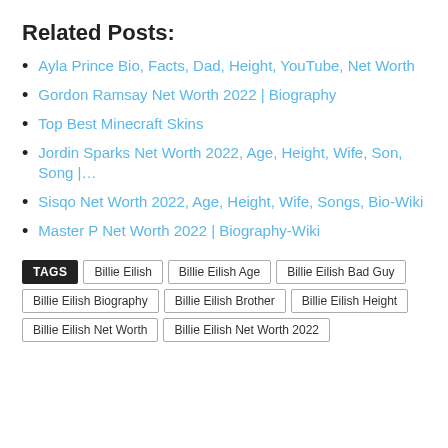Related Posts:
Ayla Prince Bio, Facts, Dad, Height, YouTube, Net Worth
Gordon Ramsay Net Worth 2022 | Biography
Top Best Minecraft Skins
Jordin Sparks Net Worth 2022, Age, Height, Wife, Son, Song |…
Sisqo Net Worth 2022, Age, Height, Wife, Songs, Bio-Wiki
Master P Net Worth 2022 | Biography-Wiki
TAGS  Billie Eilish  Billie Eilish Age  Billie Eilish Bad Guy  Billie Eilish Biography  Billie Eilish Brother  Billie Eilish Height  Billie Eilish Net Worth  Billie Eilish Net Worth 2022